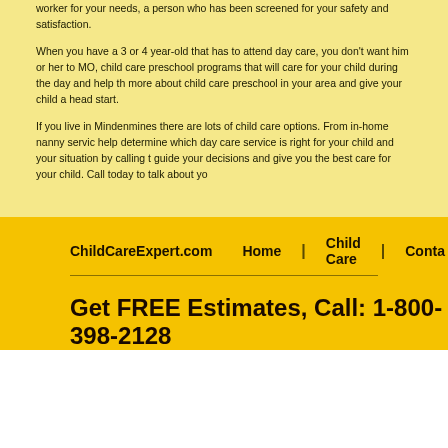worker for your needs, a person who has been screened for your safety and satisfaction.
When you have a 3 or 4 year-old that has to attend day care, you don't want him or her to MO, child care preschool programs that will care for your child during the day and help th more about child care preschool in your area and give your child a head start.
If you live in Mindenmines there are lots of child care options. From in-home nanny servic help determine which day care service is right for your child and your situation by calling t guide your decisions and give you the best care for your child. Call today to talk about yo
ChildCareExpert.com | Home | Child Care | Conta
Get FREE Estimates, Call: 1-800-398-2128